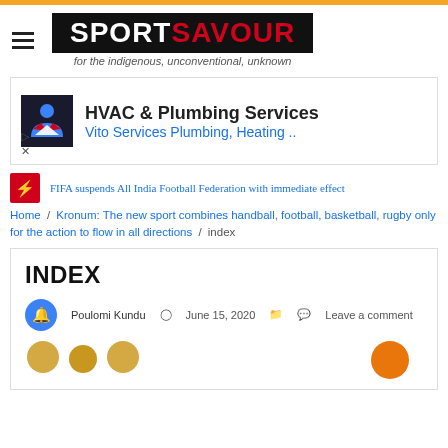[Figure (logo): SportSavour logo with hamburger menu - black background with white SPORT and red SAVOUR text, tagline: for the indigenous, unconventional, unknown]
[Figure (screenshot): Advertisement for HVAC & Plumbing Services - Vito Services Plumbing, Heating with company logo]
FIFA suspends All India Football Federation with immediate effect
Home / Kronum: The new sport combines handball, football, basketball, rugby only for the action to flow in all directions / index
INDEX
Poulomi Kundu  June 15, 2020  Leave a comment